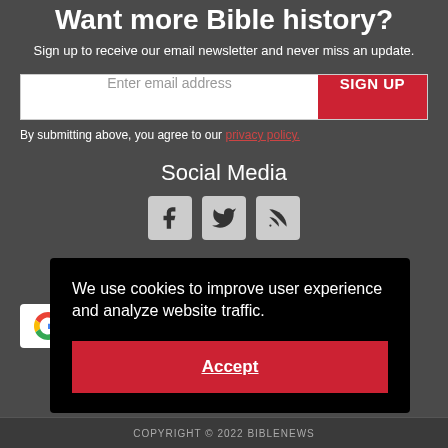Want more Bible history?
Sign up to receive our email newsletter and never miss an update.
Enter email address
SIGN UP
By submitting above, you agree to our privacy policy.
Social Media
[Figure (illustration): Social media icons: Facebook, Twitter, RSS feed]
[Figure (logo): Google logo (partially visible) with text]
We use cookies to improve user experience and analyze website traffic.
Accept
COPYRIGHT © 2022 BIBLENEWS